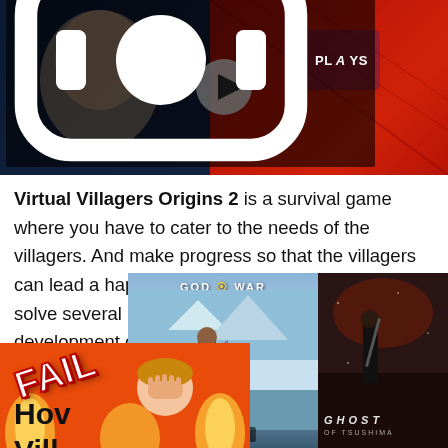[Figure (screenshot): Video thumbnail showing Spider-Man game footage with a play button overlay and a PLAYS badge at bottom left]
Virtual Villagers Origins 2 is a survival game where you have to cater to the needs of the villagers. And make progress so that the villagers can lead a happy life. Apart from that, you have to solve several puzzles in the game and ensure the development of the village. Well, in this guide, we have covered how to get Fire in Virtual Villagers Origins 2.
How to Get Fire in Virtual Villagers Origins 2
[Figure (screenshot): God of War game advertisement overlay with PLAYS badge]
[Figure (screenshot): Ghost of Tsushima game advertisement overlay]
[Figure (screenshot): FAIL meme/advertisement overlay at bottom left]